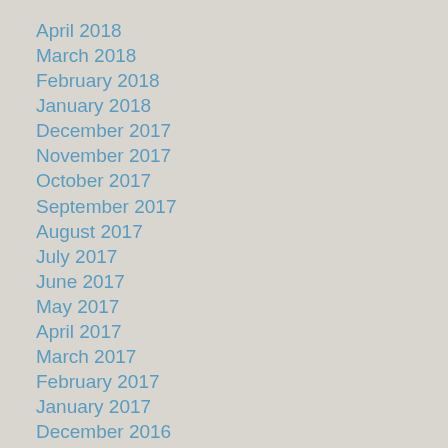April 2018
March 2018
February 2018
January 2018
December 2017
November 2017
October 2017
September 2017
August 2017
July 2017
June 2017
May 2017
April 2017
March 2017
February 2017
January 2017
December 2016
November 2016
October 2016
September 2016
August 2016